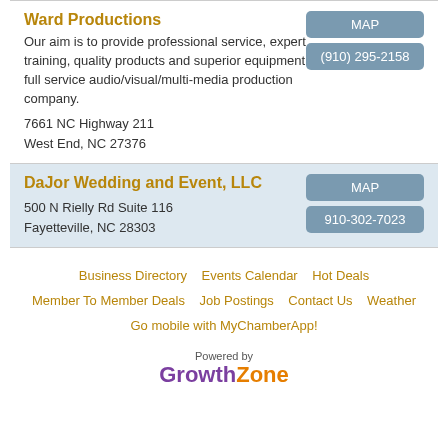Ward Productions
Our aim is to provide professional service, expert training, quality products and superior equipment as a full service audio/visual/multi-media production company.
7661 NC Highway 211
West End, NC 27376
DaJor Wedding and Event, LLC
500 N Rielly Rd Suite 116
Fayetteville, NC 28303
Business Directory   Events Calendar   Hot Deals   Member To Member Deals   Job Postings   Contact Us   Weather   Go mobile with MyChamberApp!
Powered by GrowthZone